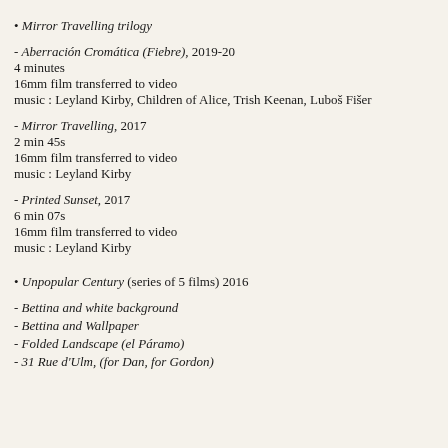Mirror Travelling trilogy
- Aberración Cromática (Fiebre), 2019-20
4 minutes
16mm film transferred to video
music : Leyland Kirby, Children of Alice, Trish Keenan, Luboš Fišer
- Mirror Travelling, 2017
2 min 45s
16mm film transferred to video
music : Leyland Kirby
- Printed Sunset, 2017
6 min 07s
16mm film transferred to video
music : Leyland Kirby
• Unpopular Century (series of 5 films) 2016
- Bettina and white background
- Bettina and Wallpaper
- Folded Landscape (el Páramo)
- 31 Rue d'Ulm, (for Dan, for Gordon)